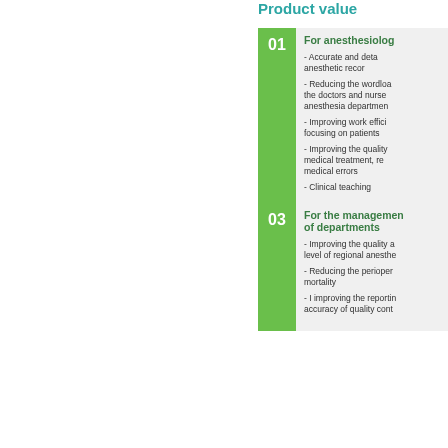Product value
For anesthesiologists
- Accurate and detailed anesthetic records
- Reducing the wordload of the doctors and nurses of anesthesia department
- Improving work efficiency, focusing on patients
- Improving the quality of medical treatment, reducing medical errors
- Clinical teaching
For the management of departments
- Improving the quality and level of regional anesthesia
- Reducing the perioperative mortality
- I improving the reporting accuracy of quality control